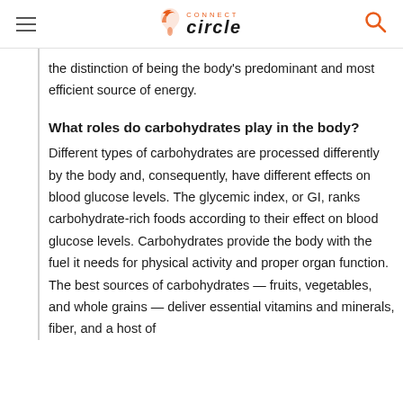Connect Circle
the distinction of being the body's predominant and most efficient source of energy.
What roles do carbohydrates play in the body?
Different types of carbohydrates are processed differently by the body and, consequently, have different effects on blood glucose levels. The glycemic index, or GI, ranks carbohydrate-rich foods according to their effect on blood glucose levels. Carbohydrates provide the body with the fuel it needs for physical activity and proper organ function. The best sources of carbohydrates — fruits, vegetables, and whole grains — deliver essential vitamins and minerals, fiber, and a host of